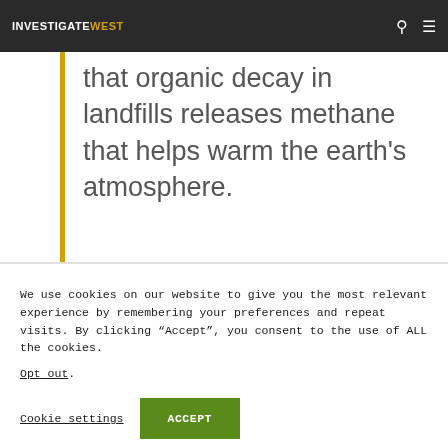INVESTIGATEWEST
landfills and awareness that organic decay in landfills releases methane that helps warm the earth's atmosphere.
We use cookies on our website to give you the most relevant experience by remembering your preferences and repeat visits. By clicking “Accept”, you consent to the use of ALL the cookies.
Opt out.
Cookie settings   ACCEPT